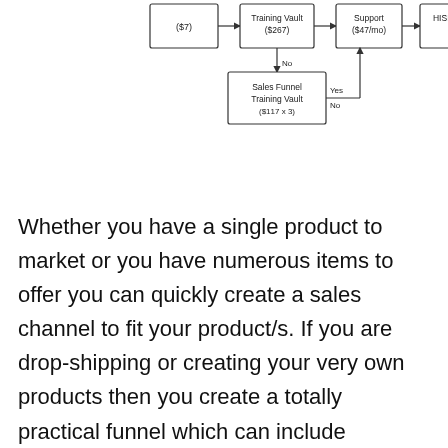[Figure (flowchart): Partial flowchart showing boxes labeled with product names and prices (e.g., $7, Training Vault $267, Support $47/mo, HISK Yid) connected by arrows, with a lower branch showing Sales Funnel Training Vault ($117 x 3) with Yes/No labels.]
Whether you have a single product to market or you have numerous items to offer you can quickly create a sales channel to fit your product/s. If you are drop-shipping or creating your very own products then you create a totally practical funnel which can include functions such as One Time Deals (OTO's), Upsells and Downsells. You can additionally incorporate your funnels